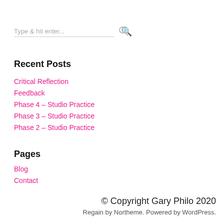Type & hit enter...
Recent Posts
Critical Reflection
Feedback
Phase 4 – Studio Practice
Phase 3 – Studio Practice
Phase 2 – Studio Practice
Pages
Blog
Contact
© Copyright Gary Philo 2020
Regain by Northeme. Powered by WordPress.